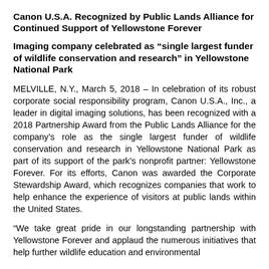Canon U.S.A. Recognized by Public Lands Alliance for Continued Support of Yellowstone Forever
Imaging company celebrated as “single largest funder of wildlife conservation and research” in Yellowstone National Park
MELVILLE, N.Y., March 5, 2018 – In celebration of its robust corporate social responsibility program, Canon U.S.A., Inc., a leader in digital imaging solutions, has been recognized with a 2018 Partnership Award from the Public Lands Alliance for the company’s role as the single largest funder of wildlife conservation and research in Yellowstone National Park as part of its support of the park’s nonprofit partner: Yellowstone Forever. For its efforts, Canon was awarded the Corporate Stewardship Award, which recognizes companies that work to help enhance the experience of visitors at public lands within the United States.
“We take great pride in our longstanding partnership with Yellowstone Forever and applaud the numerous initiatives that help further wildlife education and environmental…